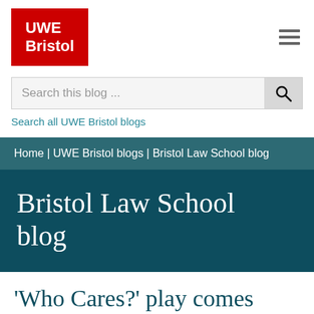[Figure (logo): UWE Bristol red logo with white text]
Search this blog ...
Search all UWE Bristol blogs
Home | UWE Bristol blogs | Bristol Law School blog
Bristol Law School blog
'Who Cares?' play comes